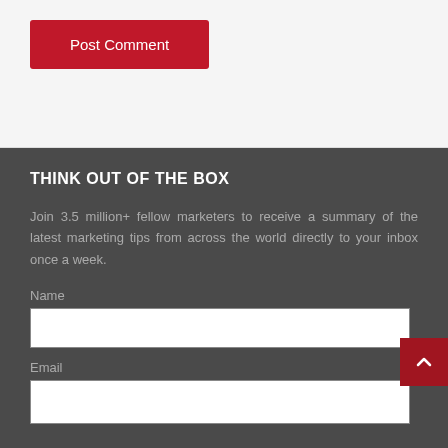Post Comment
THINK OUT OF THE BOX
Join 3.5 million+ fellow marketers to receive a summary of the latest marketing tips from across the world directly to your inbox once a week.
Name
Email